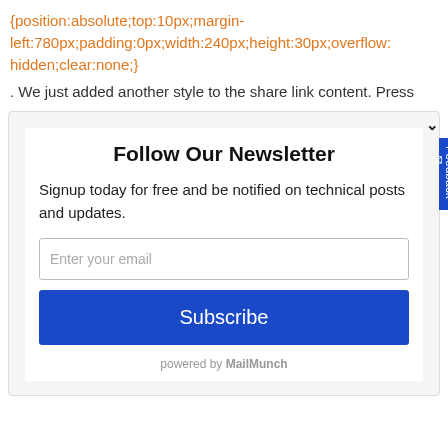{position:absolute;top:10px;margin-left:780px;padding:0px;width:240px;height:30px;overflow:hidden;clear:none;}
. We just added another style to the share link content. Press
[Figure (screenshot): Newsletter signup widget with title 'Follow Our Newsletter', description text, email input field, Subscribe button, and MailMunch branding. A blue Feedback tab is on the right side.]
Follow Our Newsletter
Signup today for free and be notified on technical posts and updates.
Enter your email
Subscribe
powered by MailMunch